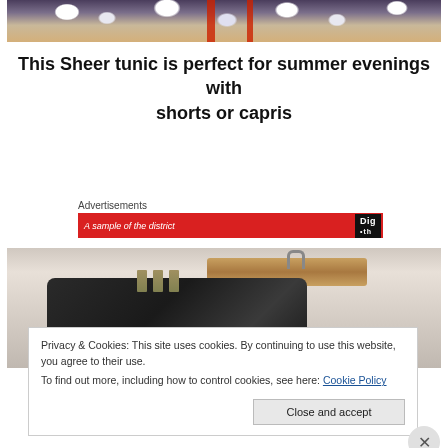[Figure (photo): Top portion of a photo showing a floral print dress/tunic (navy with white flowers) with red straps, hanging or laid out on a wooden floor background]
This Sheer tunic is perfect for summer evenings with shorts or capris
Advertisements
[Figure (photo): Advertisement banner in red with white italic text on the left and a black logo reading 'Dig' on the right]
[Figure (photo): Photo of dark (black/dark grey) leather shorts or garment hanging on a wooden hanger with metal clips, against a light background]
Privacy & Cookies: This site uses cookies. By continuing to use this website, you agree to their use.
To find out more, including how to control cookies, see here: Cookie Policy
Close and accept